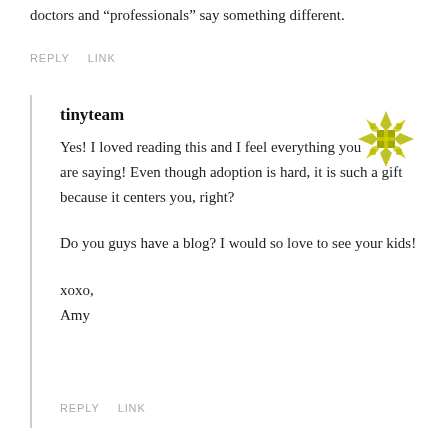doctors and “professionals” say something different.
REPLY   LINK
tinyteam
Yes! I loved reading this and I feel everything you are saying! Even though adoption is hard, it is such a gift because it centers you, right?

Do you guys have a blog? I would so love to see your kids!

xoxo,
Amy
REPLY   LINK